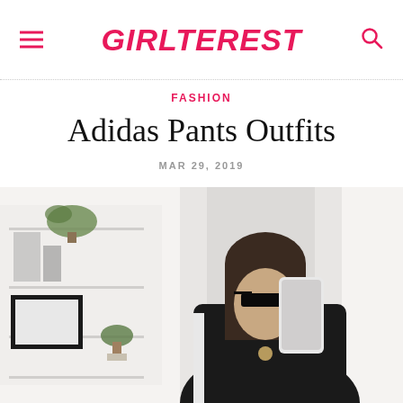GIRLTEREST
FASHION
Adidas Pants Outfits
MAR 29, 2019
[Figure (photo): A woman taking a mirror selfie with a phone, wearing a black top with white stripes and sunglasses, standing in a bright white room with shelves and decor. On the right side, a partial view of another room with shelves and a fluffy cream-colored item.]